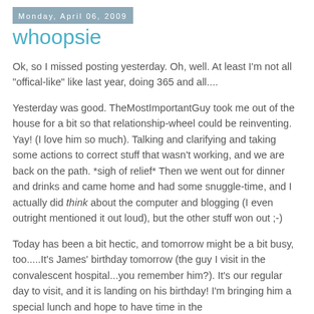Monday, April 06, 2009
whoopsie
Ok, so I missed posting yesterday. Oh, well. At least I'm not all "offical-like" like last year, doing 365 and all....
Yesterday was good. TheMostImportantGuy took me out of the house for a bit so that relationship-wheel could be reinventing. Yay! (I love him so much). Talking and clarifying and taking some actions to correct stuff that wasn't working, and we are back on the path. *sigh of relief* Then we went out for dinner and drinks and came home and had some snuggle-time, and I actually did think about the computer and blogging (I even outright mentioned it out loud), but the other stuff won out ;-)
Today has been a bit hectic, and tomorrow might be a bit busy, too.....It's James' birthday tomorrow (the guy I visit in the convalescent hospital...you remember him?). It's our regular day to visit, and it is landing on his birthday! I'm bringing him a special lunch and hope to have time in the